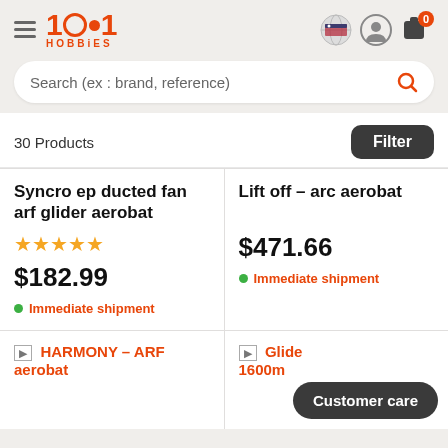1001 HOBBIES
Search (ex : brand, reference)
30 Products
Filter
Syncro ep ducted fan arf glider aerobat
★★★★★
$182.99
Immediate shipment
Lift off - arc aerobat
$471.66
Immediate shipment
HARMONY - ARF aerobat
Glide 1600m
Customer care